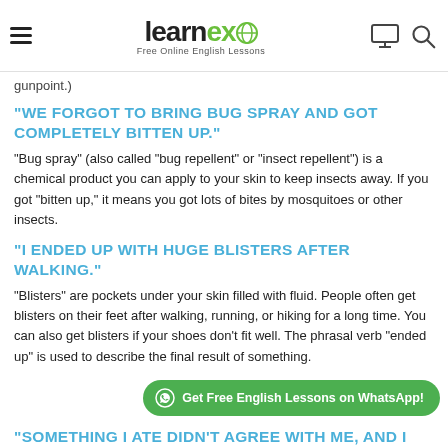learnex — Free Online English Lessons
gunpoint.)
"WE FORGOT TO BRING BUG SPRAY AND GOT COMPLETELY BITTEN UP."
"Bug spray" (also called "bug repellent" or "insect repellent") is a chemical product you can apply to your skin to keep insects away. If you got "bitten up," it means you got lots of bites by mosquitoes or other insects.
"I ENDED UP WITH HUGE BLISTERS AFTER WALKING."
"Blisters" are pockets under your skin filled with fluid. People often get blisters on their feet after walking, running, or hiking for a long time. You can also get blisters if your shoes don't fit well. The phrasal verb "ended up" is used to describe the final result of something.
Get Free English Lessons on WhatsApp!
"SOMETHING I ATE DIDN'T AGREE WITH ME, AND I